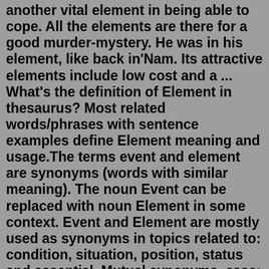another vital element in being able to cope. All the elements are there for a good murder-mystery. He was in his element, like back in'Nam. Its attractive elements include low cost and a ... What's the definition of Element in thesaurus? Most related words/phrases with sentence examples define Element meaning and usage.The terms event and element are synonyms (words with similar meaning). The noun Event can be replaced with noun Element in some context. Event and Element are mostly used as synonyms in topics related to: condition, situation, position, status and essential. Mutual synonyms. case; part; circumstance; occasion; matter; More synonyms The words Event and Element might have synonymous (similar) meaning. Find out what connects these two synonyms. Understand the difference between Event and Element. Synonyms for elemental include basic, elementary, essential, fundamental, rudimentary, primary, primitive, primordial, principal and underlying. Find more